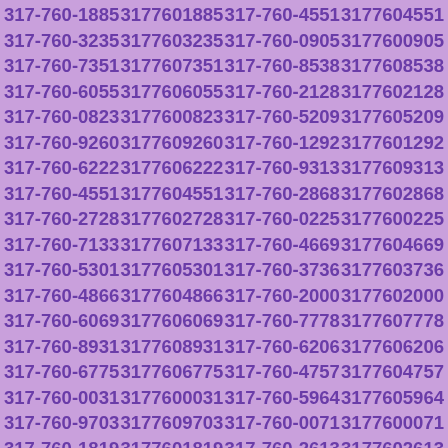317-760-1885 3177601885 317-760-4551 3177604551 317-760-3235 3177603235 317-760-0905 3177600905 317-760-7351 3177607351 317-760-8538 3177608538 317-760-6055 3177606055 317-760-2128 3177602128 317-760-0823 3177600823 317-760-5209 3177605209 317-760-9260 3177609260 317-760-1292 3177601292 317-760-6222 3177606222 317-760-9313 3177609313 317-760-4551 3177604551 317-760-2868 3177602868 317-760-2728 3177602728 317-760-0225 3177600225 317-760-7133 3177607133 317-760-4669 3177604669 317-760-5301 3177605301 317-760-3736 3177603736 317-760-4866 3177604866 317-760-2000 3177602000 317-760-6069 3177606069 317-760-7778 3177607778 317-760-8931 3177608931 317-760-6206 3177606206 317-760-6775 3177606775 317-760-4757 3177604757 317-760-0031 3177600031 317-760-5964 3177605964 317-760-9703 3177609703 317-760-0071 3177600071 317-760-1819 3177601819 317-760-2613 3177602613 317-760-0417 3177600417 317-760-0442 3177600442 317-760-7673 3177607673 317-760-6174 3177606174 317-760-6954 3177606954 317-760-9738 3177609738